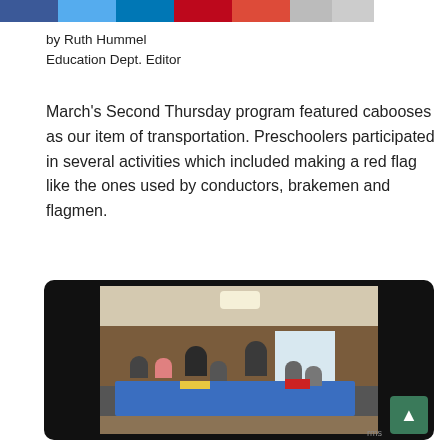[Social share buttons: Facebook, Twitter, LinkedIn, Pinterest, Google+]
by Ruth Hummel
Education Dept. Editor
March's Second Thursday program featured cabooses as our item of transportation. Preschoolers participated in several activities which included making a red flag like the ones used by conductors, brakemen and flagmen.
[Figure (photo): Children sitting around a blue table inside a caboose, with adults standing nearby. Overhead lighting visible on ceiling, wooden paneled walls with window in background.]